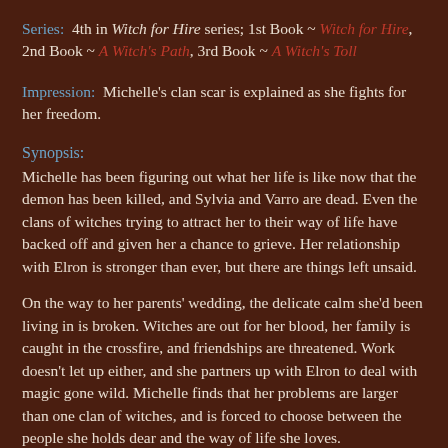Series:  4th in Witch for Hire series; 1st Book ~ Witch for Hire, 2nd Book ~ A Witch's Path, 3rd Book ~ A Witch's Toll
Impression:  Michelle's clan scar is explained as she fights for her freedom.
Synopsis:
Michelle has been figuring out what her life is like now that the demon has been killed, and Sylvia and Varro are dead. Even the clans of witches trying to attract her to their way of life have backed off and given her a chance to grieve. Her relationship with Elron is stronger than ever, but there are things left unsaid.
On the way to her parents' wedding, the delicate calm she'd been living in is broken. Witches are out for her blood, her family is caught in the crossfire, and friendships are threatened. Work doesn't let up either, and she partners up with Elron to deal with magic gone wild. Michelle finds that her problems are larger than one clan of witches, and is forced to choose between the people she holds dear and the way of life she loves.